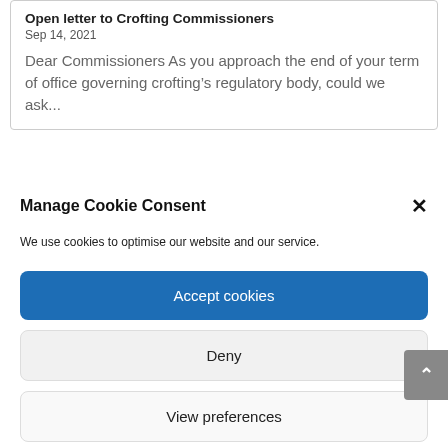Open letter to Crofting Commissioners
Sep 14, 2021
Dear Commissioners As you approach the end of your term of office governing crofting’s regulatory body, could we ask...
Manage Cookie Consent
We use cookies to optimise our website and our service.
Accept cookies
Deny
View preferences